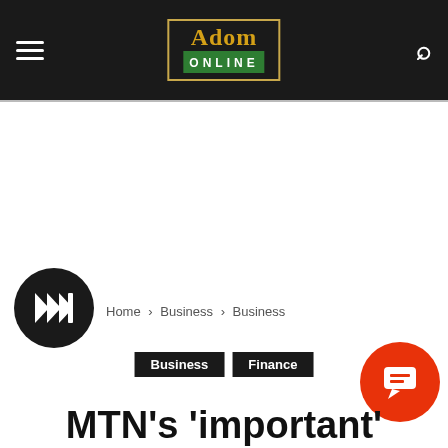Adom Online
[Figure (other): White advertisement/banner area below the navigation bar]
[Figure (other): Black circular play button with forward arrow icon]
Home › Business › Business
Business   Finance
MTN's 'important'